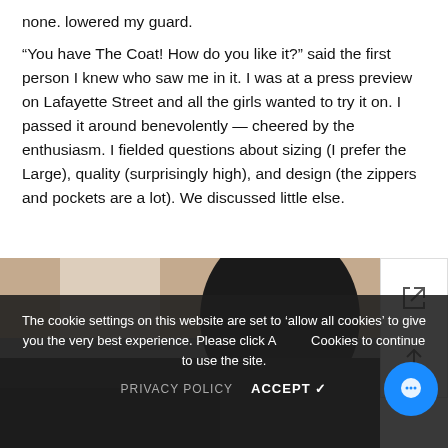none. lowered my guard.
“You have The Coat! How do you like it?” said the first person I knew who saw me in it. I was at a press preview on Lafayette Street and all the girls wanted to try it on. I passed it around benevolently — cheered by the enthusiasm. I fielded questions about sizing (I prefer the Large), quality (surprisingly high), and design (the zippers and pockets are a lot). We discussed little else.
[Figure (photo): Partial photo of a person wearing a dark/black coat, viewed from behind or side, against a light beige/cream wall background.]
The cookie settings on this website are set to ‘allow all cookies’ to give you the very best experience. Please click Accept Cookies to continue to use the site.
PRIVACY POLICY   ACCEPT ✓